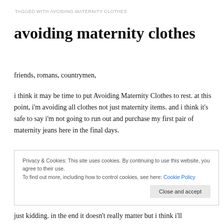TAGGED WITH AVOIDING MATERNITY CLOTHES
avoiding maternity clothes
friends, romans, countrymen,
i think it may be time to put Avoiding Maternity Clothes to rest. at this point, i'm avoiding all clothes not just maternity items. and i think it's safe to say i'm not going to run out and purchase my first pair of maternity jeans here in the final days.
Privacy & Cookies: This site uses cookies. By continuing to use this website, you agree to their use.
To find out more, including how to control cookies, see here: Cookie Policy
just kidding. in the end it doesn't really matter but i think i'll